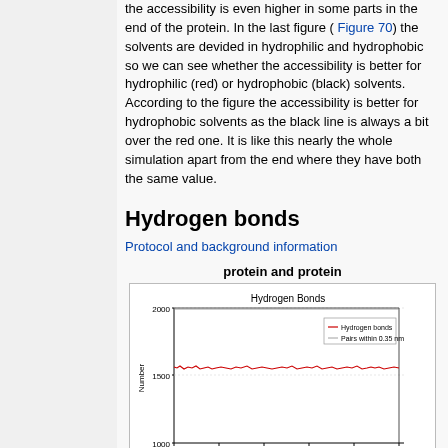the accessibility is even higher in some parts in the end of the protein. In the last figure ( Figure 70) the solvents are devided in hydrophilic and hydrophobic so we can see whether the accessibility is better for hydrophilic (red) or hydrophobic (black) solvents. According to the figure the accessibility is better for hydrophobic solvents as the black line is always a bit over the red one. It is like this nearly the whole simulation apart from the end where they have both the same value.
Hydrogen bonds
Protocol and background information
protein and protein
[Figure (continuous-plot): Line chart titled 'Hydrogen Bonds' showing Number vs time. A red line (Hydrogen bonds) stays around 1450 and a gray line (Pairs within 0.35 nm) is near 2000. Y-axis shows values 1000, 1500, 2000. Legend visible in upper right.]